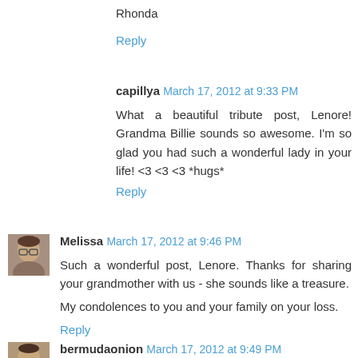Rhonda
Reply
capillya March 17, 2012 at 9:33 PM
What a beautiful tribute post, Lenore! Grandma Billie sounds so awesome. I'm so glad you had such a wonderful lady in your life! <3 <3 <3 *hugs*
Reply
[Figure (photo): Avatar photo of Melissa, woman with glasses]
Melissa March 17, 2012 at 9:46 PM
Such a wonderful post, Lenore. Thanks for sharing your grandmother with us - she sounds like a treasure.
My condolences to you and your family on your loss.
Reply
[Figure (photo): Avatar photo of bermudaonion]
bermudaonion March 17, 2012 at 9:49 PM